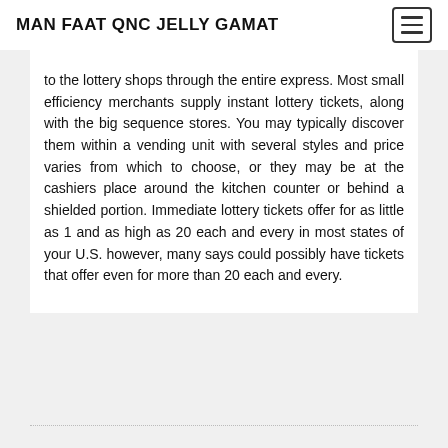MAN FAAT QNC JELLY GAMAT
to the lottery shops through the entire express. Most small efficiency merchants supply instant lottery tickets, along with the big sequence stores. You may typically discover them within a vending unit with several styles and price varies from which to choose, or they may be at the cashiers place around the kitchen counter or behind a shielded portion. Immediate lottery tickets offer for as little as 1 and as high as 20 each and every in most states of your U.S. however, many says could possibly have tickets that offer even for more than 20 each and every.